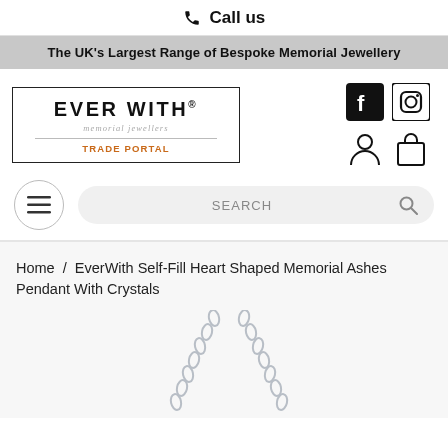Call us
The UK's Largest Range of Bespoke Memorial Jewellery
[Figure (logo): EverWith memorial jewellers Trade Portal logo in a rectangular box, with social media icons (Facebook, Instagram) and account/cart icons to the right]
SEARCH
Home / EverWith Self-Fill Heart Shaped Memorial Ashes Pendant With Crystals
[Figure (photo): Partial view of a silver chain necklace pendant on white background]